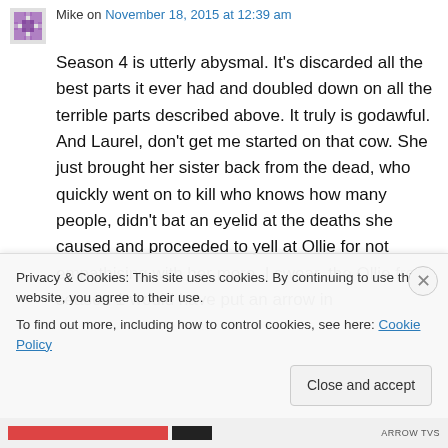Mike on November 18, 2015 at 12:39 am
Season 4 is utterly abysmal. It's discarded all the best parts it ever had and doubled down on all the terrible parts described above. It truly is godawful. And Laurel, don't get me started on that cow. She just brought her sister back from the dead, who quickly went on to kill who knows how many people, didn't bat an eyelid at the deaths she caused and proceeded to yell at Ollie for not empathising with her more. I swear, the Ollie from season 1 would have put an arrow in
Privacy & Cookies: This site uses cookies. By continuing to use this website, you agree to their use.
To find out more, including how to control cookies, see here: Cookie Policy